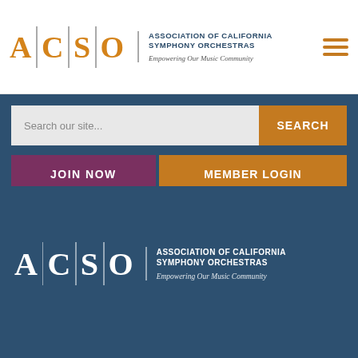[Figure (logo): ACSO logo with letters A C S O separated by vertical dividers, orange color, with text 'Association of California Symphony Orchestras' and tagline 'Empowering Our Music Community'. White background header with hamburger menu icon.]
[Figure (screenshot): Dark teal search bar section with text input 'Search our site...' and orange SEARCH button, plus purple JOIN NOW button and orange MEMBER LOGIN button below.]
[Figure (logo): ACSO logo repeated on dark teal background with white letters A C S O, white text 'Association of California Symphony Orchestras' and 'Empowering Our Music Community' in italic.]